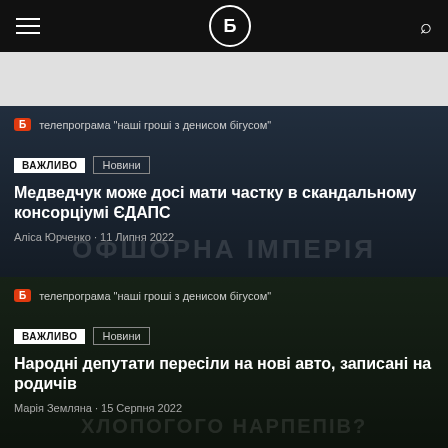Бігус онлайн — навігаційна панель
[Figure (other): Advertisement banner placeholder]
телепрограма "наші гроші з денисом бігусом"
ВАЖЛИВО  Новини
Медведчук може досі мати частку в скандальному консорціумі ЄДАПС
Аліса Юрченко · 11 Липня 2022
телепрограма "наші гроші з денисом бігусом"
ВАЖЛИВО  Новини
Народні депутати пересіли на нові авто, записані на родичів
Марія Земляна · 15 Серпня 2022